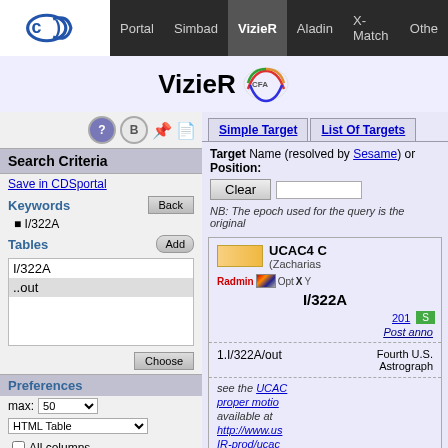Portal | Simbad | VizieR | Aladin | X-Match | Other
VizieR
Search Criteria
Save in CDSportal
Keywords
I/322A
Tables
| I/322A |
| ..out |
Preferences
max: 50
HTML Table
All columns
Compute
Distance ρ
Position angle θ
Simple Target | List Of Targets
Target Name (resolved by Sesame) or Position:
Clear
NB: The epoch used for the query is the original
[Figure (screenshot): UCAC4 catalog entry panel showing catalog I/322A with colored box, radio buttons (Radmin, Opt, IR, X, Y), catalog ID I/322A, year link 201, green S button, Post anno link, entry 1.I/322A/out with description Fourth U.S. Naval Observatory Astrographic... see the UCAC proper motion... available at http://www.us... IR-prod/ucac... Please ackno...]